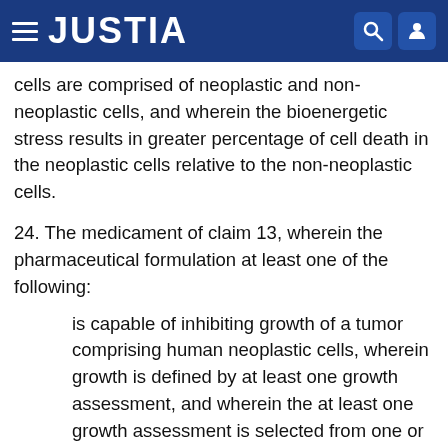JUSTIA
cells are comprised of neoplastic and non-neoplastic cells, and wherein the bioenergetic stress results in greater percentage of cell death in the neoplastic cells relative to the non-neoplastic cells.
24. The medicament of claim 13, wherein the pharmaceutical formulation at least one of the following:
is capable of inhibiting growth of a tumor comprising human neoplastic cells, wherein growth is defined by at least one growth assessment, and wherein the at least one growth assessment is selected from one or more of the group: an increase in tumor diameter, an increase in tumor bioluminescence, an increase in tumor volume, an increase in tumor mass, and neoplastic cell proliferation; and